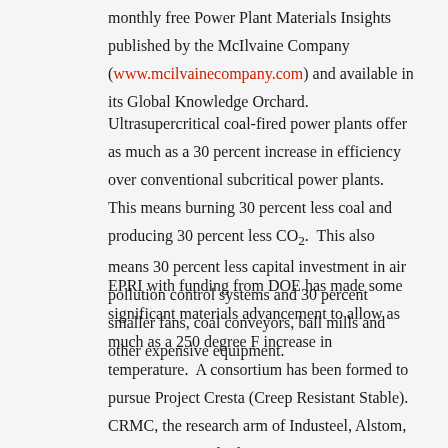monthly free Power Plant Materials Insights published by the McIlvaine Company (www.mcilvainecompany.com) and available in its Global Knowledge Orchard.
Ultrasupercritical coal-fired power plants offer as much as a 30 percent increase in efficiency over conventional subcritical power plants.  This means burning 30 percent less coal and producing 30 percent less CO2.  This also means 30 percent less capital investment in air pollution control systems and 30 percent smaller fans, coal conveyors, ball mills and other expensive equipment.
EPRI with funding from DOE has made some significant materials advancement to allow as much as a 250 degree F increase in temperature.  A consortium has been formed to pursue Project Cresta (Creep Resistant Stable).  CRMC, the research arm of Industeel, Alstom, Dong Energy and others are